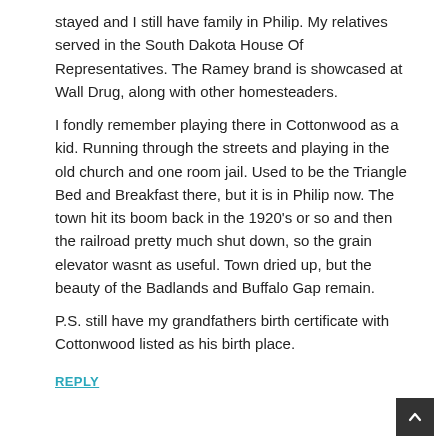stayed and I still have family in Philip. My relatives served in the South Dakota House Of Representatives. The Ramey brand is showcased at Wall Drug, along with other homesteaders.
I fondly remember playing there in Cottonwood as a kid. Running through the streets and playing in the old church and one room jail. Used to be the Triangle Bed and Breakfast there, but it is in Philip now. The town hit its boom back in the 1920's or so and then the railroad pretty much shut down, so the grain elevator wasnt as useful. Town dried up, but the beauty of the Badlands and Buffalo Gap remain.
P.S. still have my grandfathers birth certificate with Cottonwood listed as his birth place.
REPLY